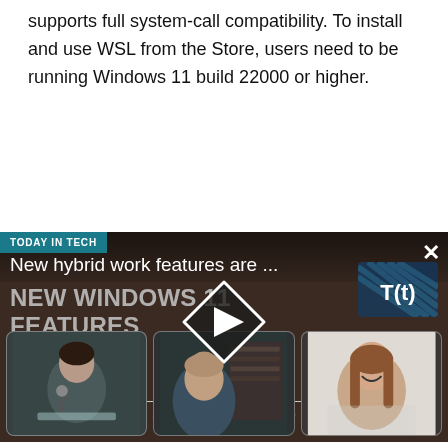supports full system-call compatibility. To install and use WSL from the Store, users need to be running Windows 11 build 22000 or higher.
[Figure (screenshot): Video thumbnail for 'Today in Tech' segment titled 'New hybrid work features are ...' / 'NEW WINDOWS 11 FEATURES' with a play button overlay and three panelist thumbnails showing two women and one man, with a T(t) logo in the top right corner and a close (X) button.]
Content Continues Below